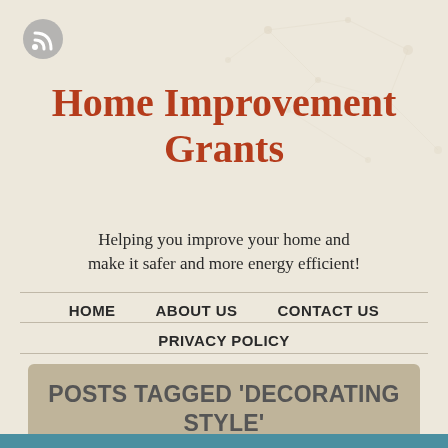[Figure (logo): RSS feed icon — grey circle with white wifi/signal symbol]
Home Improvement Grants
Helping you improve your home and make it safer and more energy efficient!
HOME    ABOUT US    CONTACT US
PRIVACY POLICY
POSTS TAGGED 'DECORATING STYLE'